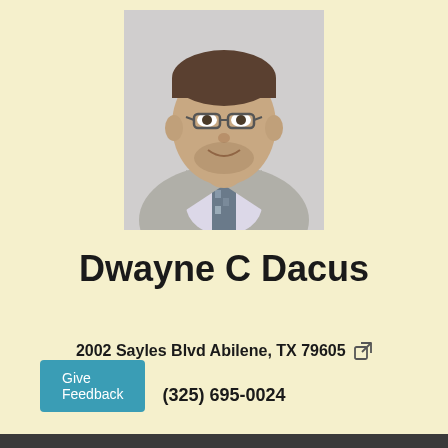[Figure (photo): Headshot photo of Dwayne C Dacus, a man in a light gray suit with a patterned tie and glasses, smiling at the camera.]
Dwayne C Dacus
2002 Sayles Blvd Abilene, TX 79605
(325) 695-0024
Give Feedback